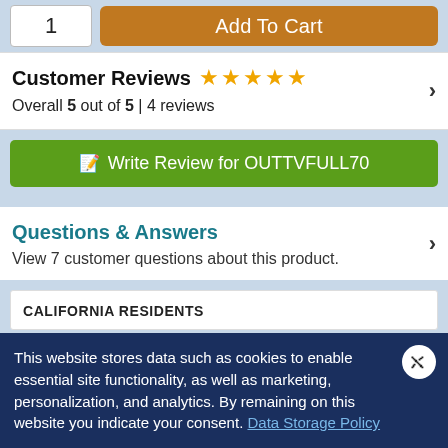[Figure (screenshot): Quantity input box showing '1' and orange 'Add To Cart' button]
Customer Reviews ★★★★★
Overall 5 out of 5 | 4 reviews
✎ Write Review for OUTTVFULL70
Questions & Answers
View 7 customer questions about this product.
CALIFORNIA RESIDENTS
This website stores data such as cookies to enable essential site functionality, as well as marketing, personalization, and analytics. By remaining on this website you indicate your consent. Data Storage Policy